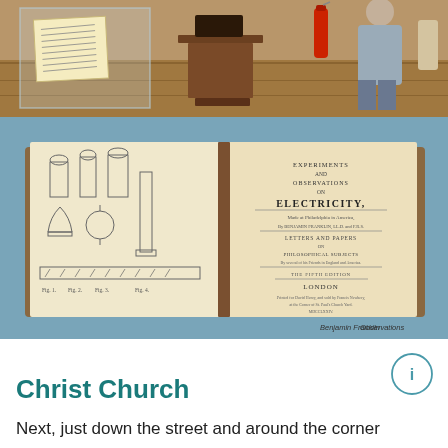[Figure (photo): Museum exhibit room with glass display case containing a handwritten document on the left, wooden display stand in the center with a dark object on top, a red fire extinguisher, and a person in gray shirt visible in the background on wooden flooring.]
[Figure (photo): Open antique book displayed in a glass case. Left page shows technical illustrations of electrical/scientific apparatus including bottles, bells and equipment. Right page shows title page text reading 'Experiments and Observations on Electricity' associated with Benjamin Franklin. A label at bottom right reads 'Benjamin Franklin Observations'.]
Christ Church
Next, just down the street and around the corner